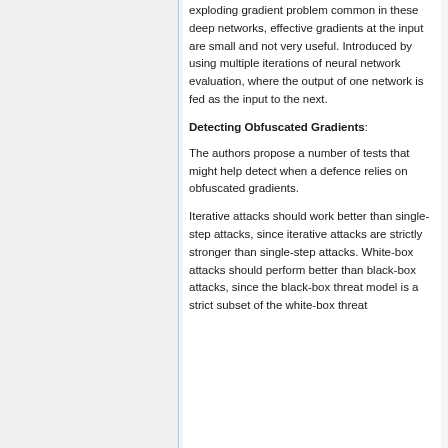exploding gradient problem common in these deep networks, effective gradients at the input are small and not very useful. Introduced by using multiple iterations of neural network evaluation, where the output of one network is fed as the input to the next.
Detecting Obfuscated Gradients:
The authors propose a number of tests that might help detect when a defence relies on obfuscated gradients.
Iterative attacks should work better than single-step attacks, since iterative attacks are strictly stronger than single-step attacks. White-box attacks should perform better than black-box attacks, since the black-box threat model is a strict subset of the white-box threat...